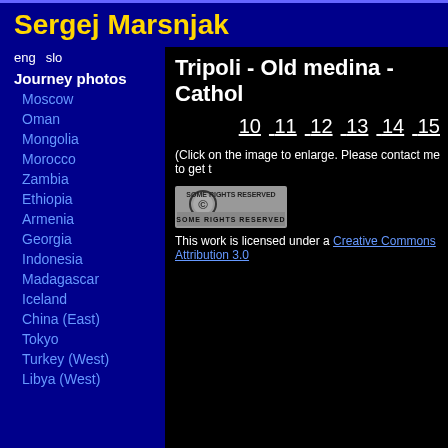Sergej Marsnjak
eng  slo
Journey photos
Moscow
Oman
Mongolia
Morocco
Zambia
Ethiopia
Armenia
Georgia
Indonesia
Madagascar
Iceland
China (East)
Tokyo
Turkey (West)
Libya (West)
Tripoli - Old medina - Cathol
10  11  12  13  14  15
(Click on the image to enlarge. Please contact me to get t
[Figure (logo): Creative Commons Some Rights Reserved badge]
This work is licensed under a Creative Commons Attribution 3.0